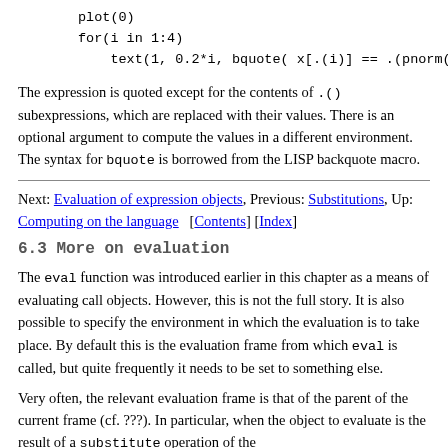plot(0)
for(i in 1:4)
    text(1, 0.2*i, bquote( x[.(i)] == .(pnorm(i))
The expression is quoted except for the contents of .() subexpressions, which are replaced with their values. There is an optional argument to compute the values in a different environment. The syntax for bquote is borrowed from the LISP backquote macro.
Next: Evaluation of expression objects, Previous: Substitutions, Up: Computing on the language   [Contents] [Index]
6.3 More on evaluation
The eval function was introduced earlier in this chapter as a means of evaluating call objects. However, this is not the full story. It is also possible to specify the environment in which the evaluation is to take place. By default this is the evaluation frame from which eval is called, but quite frequently it needs to be set to something else.
Very often, the relevant evaluation frame is that of the parent of the current frame (cf. ???). In particular, when the object to evaluate is the result of a substitute operation of the